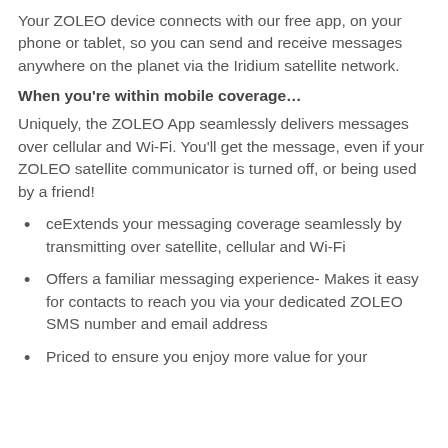Your ZOLEO device connects with our free app, on your phone or tablet, so you can send and receive messages anywhere on the planet via the Iridium satellite network.
When you’re within mobile coverage…
Uniquely, the ZOLEO App seamlessly delivers messages over cellular and Wi-Fi. You’ll get the message, even if your ZOLEO satellite communicator is turned off, or being used by a friend!
ceExtends your messaging coverage seamlessly by transmitting over satellite, cellular and Wi-Fi
Offers a familiar messaging experience- Makes it easy for contacts to reach you via your dedicated ZOLEO SMS number and email address
Priced to ensure you enjoy more value for your